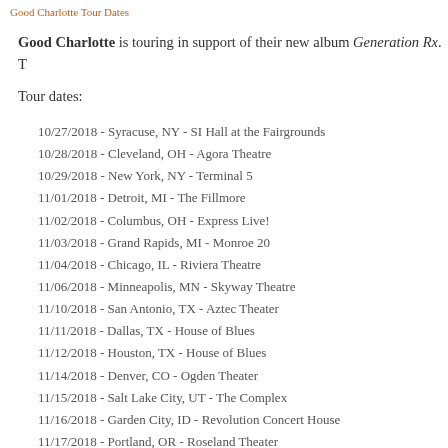Good Charlotte Tour Dates
Good Charlotte is touring in support of their new album Generation Rx. T
Tour dates:
10/27/2018 - Syracuse, NY - SI Hall at the Fairgrounds
10/28/2018 - Cleveland, OH - Agora Theatre
10/29/2018 - New York, NY - Terminal 5
11/01/2018 - Detroit, MI - The Fillmore
11/02/2018 - Columbus, OH - Express Live!
11/03/2018 - Grand Rapids, MI - Monroe 20
11/04/2018 - Chicago, IL - Riviera Theatre
11/06/2018 - Minneapolis, MN - Skyway Theatre
11/10/2018 - San Antonio, TX - Aztec Theater
11/11/2018 - Dallas, TX - House of Blues
11/12/2018 - Houston, TX - House of Blues
11/14/2018 - Denver, CO - Ogden Theater
11/15/2018 - Salt Lake City, UT - The Complex
11/16/2018 - Garden City, ID - Revolution Concert House
11/17/2018 - Portland, OR - Roseland Theater
11/18/2018 - Seattle, WA - Showbox SODO